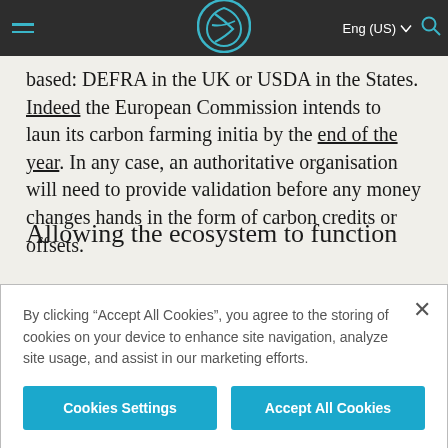Eng (US)
based: DEFRA in the UK or USDA in the States. Indeed the European Commission intends to launch its carbon farming initiative by the end of the year. In any case, an authoritative organisation will need to provide validation before any money changes hands in the form of carbon credits or offsets.
Allowing the ecosystem to function
I also shared my view of how the players will sit in this evolving ecosystem. At the moment there are hundreds of companies offering trading platforms.
By clicking “Accept All Cookies”, you agree to the storing of cookies on your device to enhance site navigation, analyze site usage, and assist in our marketing efforts.